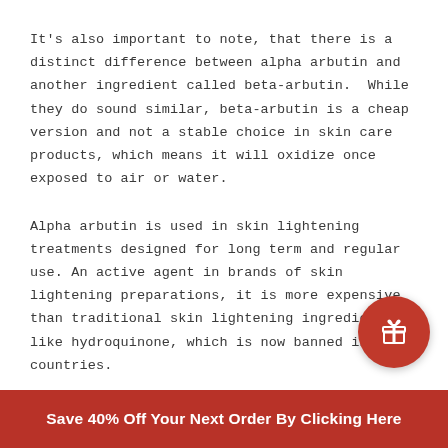It's also important to note, that there is a distinct difference between alpha arbutin and another ingredient called beta-arbutin. While they do sound similar, beta-arbutin is a cheap version and not a stable choice in skin care products, which means it will oxidize once exposed to air or water.
Alpha arbutin is used in skin lightening treatments designed for long term and regular use. An active agent in brands of skin lightening preparations, it is more expensive than traditional skin lightening ingredients like hydroquinone, which is now banned in many countries.
[Figure (other): Red circular gift/promotion button icon with a gift box symbol in white]
Save 40% Off Your Next Order By Clicking Here